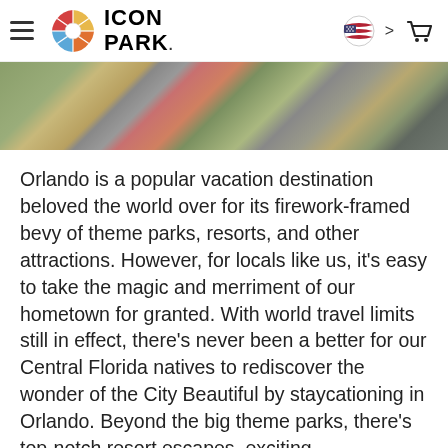ICON PARK
[Figure (photo): Aerial view of Icon Park entertainment complex in Orlando, showing buildings, walkways, trees and colorful signage from above]
Orlando is a popular vacation destination beloved the world over for its firework-framed bevy of theme parks, resorts, and other attractions. However, for locals like us, it’s easy to take the magic and merriment of our hometown for granted. With world travel limits still in effect, there’s never been a better for our Central Florida natives to rediscover the wonder of the City Beautiful by staycationing in Orlando. Beyond the big theme parks, there’s top-notch resort escapes, exciting entertainment, and
BUY ONLINE & SAVE $